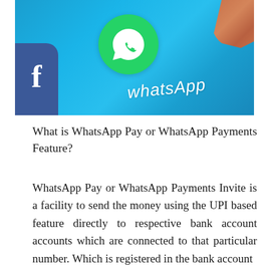[Figure (photo): Close-up photo of a smartphone screen showing the WhatsApp app icon (green circle with white phone handset) and partial Facebook icon (blue, with white 'f'), with 'whatsApp' text logo visible on screen and a human finger about to tap the WhatsApp icon.]
What is WhatsApp Pay or WhatsApp Payments Feature?
WhatsApp Pay or WhatsApp Payments Invite is a facility to send the money using the UPI based feature directly to respective bank account accounts which are connected to that particular number. Which is registered in the bank account